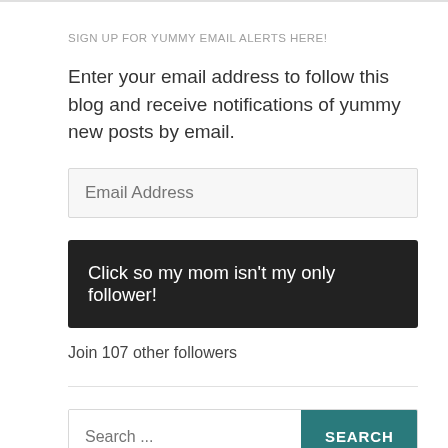SIGN UP FOR YUMMY EMAIL ALERTS HERE!
Enter your email address to follow this blog and receive notifications of yummy new posts by email.
Email Address
Click so my mom isn't my only follower!
Join 107 other followers
Search ...